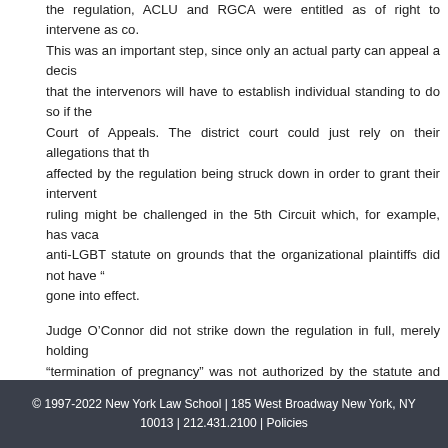the regulation, ACLU and RGCA were entitled as of right to intervene as co. This was an important step, since only an actual party can appeal a decis that the intervenors will have to establish individual standing to do so if the Court of Appeals. The district court could just rely on their allegations that th affected by the regulation being struck down in order to grant their intervent ruling might be challenged in the 5th Circuit which, for example, has vaca anti-LGBT statute on grounds that the organizational plaintiffs did not have " gone into effect.
Judge O'Connor did not strike down the regulation in full, merely holding "termination of pregnancy" was not authorized by the statute and thus "vacated." He refrained from issuing a nationwide injunction, presumably be Administration – is clearly going to comply, since it is no longer arguing Sessions memorandum and the position it is arguing in the Harris Funeral He
O'Connor's action immediately raises the question whether his ruling is bin Striking down the "unlawful" portions presumably does not just mean for pu government would appeal such a ruling, but in this case, it seems unlikely t to appeal this ruling, which leaves that determination up to the ACLU circumstances, including a national election just a year from now.
© 1997-2022 New York Law School | 185 West Broadway New York, NY 10013 | 212.431.2100 | Policies